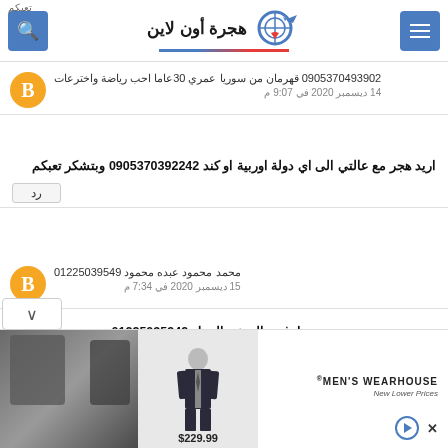هجرة أون لاين
تعبكم
0905370493902 قهرمان من سوريا عمري 30عاما احب رياضة واخترعات
14 ديسمبر 2020 في 9:07 م
اريد هجر مع عالتي الى اي دولة اوربية او كند 0905370392242 وبتشكر تعبكم
رد
محمد محمود عبده محمود 01225039549
15 ديسمبر 2020 في 7:34 م
محمدمحمودعبده محمود ارغب بالسفروالعمل 01225035949 من مصر
رد
[Figure (photo): Men's Wearhouse advertisement showing a man in a suit with price $229.99 and a couple in formal wear]